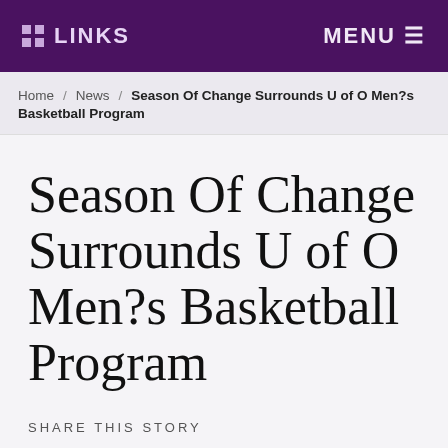LINKS   MENU
Home / News / Season Of Change Surrounds U of O Men?s Basketball Program
Season Of Change Surrounds U of O Men?s Basketball Program
SHARE THIS STORY
[Figure (infographic): Three circular social media share icons: Facebook (f), Twitter (bird), and email (envelope), outlined in purple.]